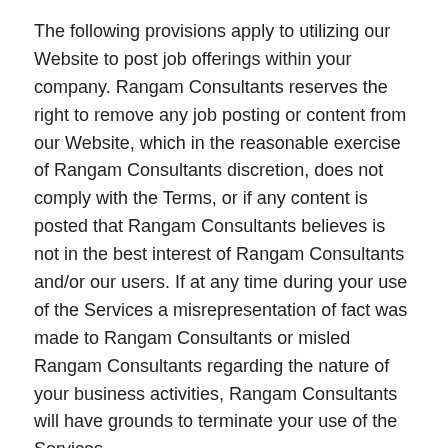The following provisions apply to utilizing our Website to post job offerings within your company. Rangam Consultants reserves the right to remove any job posting or content from our Website, which in the reasonable exercise of Rangam Consultants discretion, does not comply with the Terms, or if any content is posted that Rangam Consultants believes is not in the best interest of Rangam Consultants and/or our users. If at any time during your use of the Services a misrepresentation of fact was made to Rangam Consultants or misled Rangam Consultants regarding the nature of your business activities, Rangam Consultants will have grounds to terminate your use of the Services.
Provisions
Job Posting Restrictions: The following items are